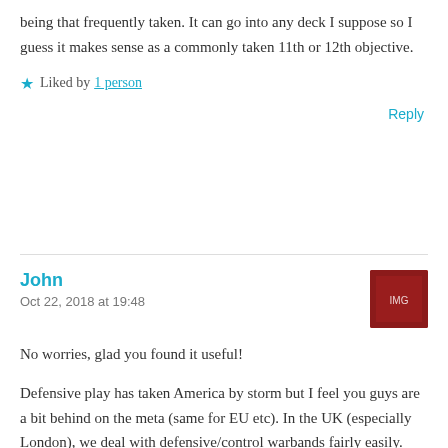being that frequently taken. It can go into any deck I suppose so I guess it makes sense as a commonly taken 11th or 12th objective.
Liked by 1 person
Reply
John
Oct 22, 2018 at 19:48
No worries, glad you found it useful!
Defensive play has taken America by storm but I feel you guys are a bit behind on the meta (same for EU etc). In the UK (especially London), we deal with defensive/control warbands fairly easily.